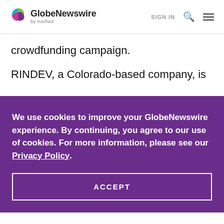GlobeNewswire by notified — SIGN IN
crowdfunding campaign.
RINDEV, a Colorado-based company, is
We use cookies to improve your GlobeNewswire experience. By continuing, you agree to our use of cookies. For more information, please see our Privacy Policy.
ACCEPT